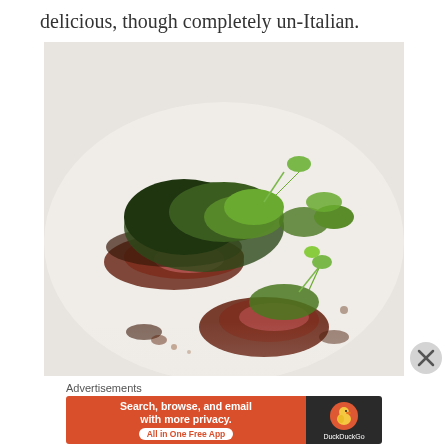delicious, though completely un-Italian.
[Figure (photo): Close-up food photography of a plated meat dish garnished with microgreens and herbs on a white plate, with shallow depth of field.]
Advertisements
[Figure (screenshot): DuckDuckGo advertisement banner: orange left panel with text 'Search, browse, and email with more privacy. All in One Free App' and dark right panel with DuckDuckGo logo and duck icon.]